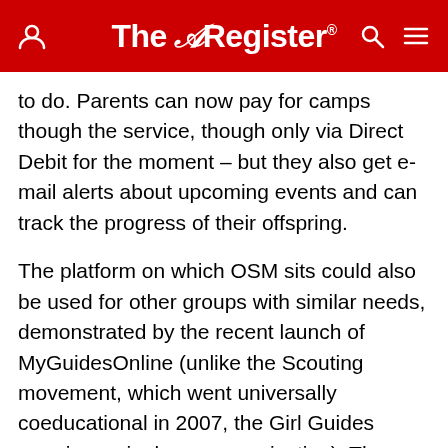The Register
to do. Parents can now pay for camps though the service, though only via Direct Debit for the moment – but they also get e-mail alerts about upcoming events and can track the progress of their offspring.
The platform on which OSM sits could also be used for other groups with similar needs, demonstrated by the recent launch of MyGuidesOnline (unlike the Scouting movement, which went universally coeducational in 2007, the Girl Guides remains a single-sex organisation). The most important thing is to stay ahead of the UK Scouting movement itself, which has made noises about developing a competitor which would seriously undermine, if not entirely destroy, Ed's business